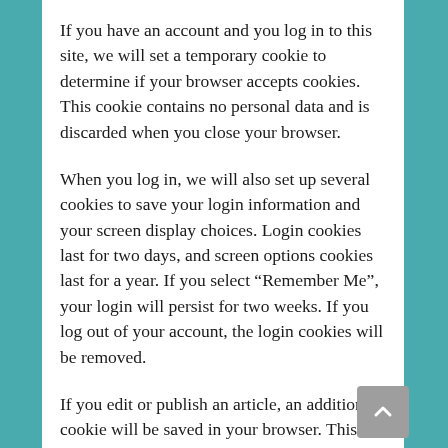If you have an account and you log in to this site, we will set a temporary cookie to determine if your browser accepts cookies. This cookie contains no personal data and is discarded when you close your browser.
When you log in, we will also set up several cookies to save your login information and your screen display choices. Login cookies last for two days, and screen options cookies last for a year. If you select “Remember Me”, your login will persist for two weeks. If you log out of your account, the login cookies will be removed.
If you edit or publish an article, an additional cookie will be saved in your browser. This cookie includes no personal data and simply indicates